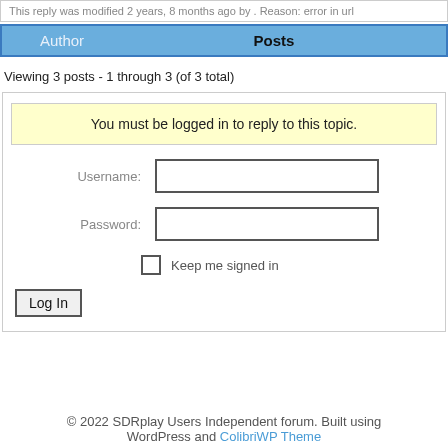This reply was modified 2 years, 8 months ago by . Reason: error in url
| Author | Posts |
| --- | --- |
Viewing 3 posts - 1 through 3 (of 3 total)
You must be logged in to reply to this topic.
Username:
Password:
Keep me signed in
Log In
© 2022 SDRplay Users Independent forum. Built using WordPress and ColibriWP Theme